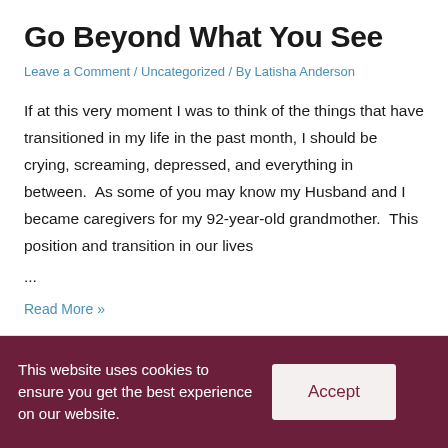Go Beyond What You See
Leave a Comment / Uncategorized / By Latisha Anderson
If at this very moment I was to think of the things that have transitioned in my life in the past month, I should be crying, screaming, depressed, and everything in between.  As some of you may know my Husband and I became caregivers for my 92-year-old grandmother.  This position and transition in our lives ...
Read More »
[Figure (photo): Dark banner image partially visible at bottom of article area]
This website uses cookies to ensure you get the best experience on our website.
Accept